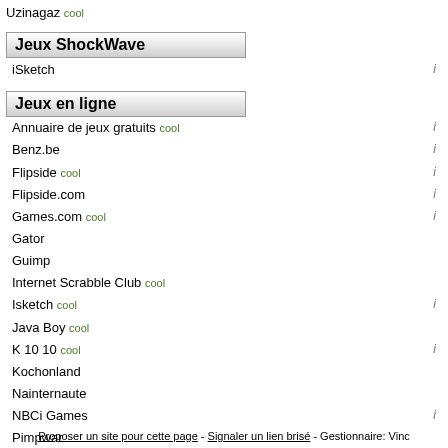Uzinagaz cool
Jeux ShockWave
iSketch  i
Jeux en ligne
Annuaire de jeux gratuits cool  i
Benz.be  i
Flipside cool  i
Flipside.com  i
Games.com cool  i
Gator
Guimp
Internet Scrabble Club cool
Isketch cool  i
Java Boy cool
K 10 10 cool  i
Kochonland
Nainternaute
NBCi Games  i
Pimpwar
Pogo  i
Sims online
Skynet Game Center
Trop fun
Yahoo! Games
Zone Jeux
Proposer un site pour cette page - Signaler un lien brisé - Gestionnaire: Vinc